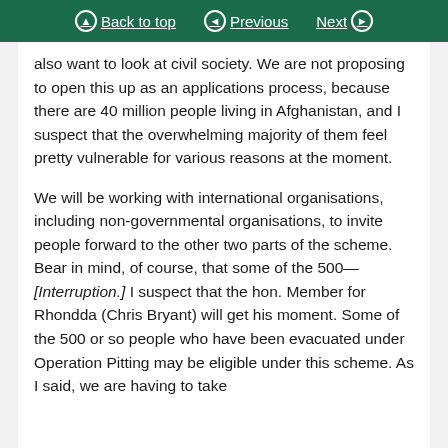Back to top | Previous | Next
also want to look at civil society. We are not proposing to open this up as an applications process, because there are 40 million people living in Afghanistan, and I suspect that the overwhelming majority of them feel pretty vulnerable for various reasons at the moment.
We will be working with international organisations, including non-governmental organisations, to invite people forward to the other two parts of the scheme. Bear in mind, of course, that some of the 500—[Interruption.] I suspect that the hon. Member for Rhondda (Chris Bryant) will get his moment. Some of the 500 or so people who have been evacuated under Operation Pitting may be eligible under this scheme. As I said, we are having to take